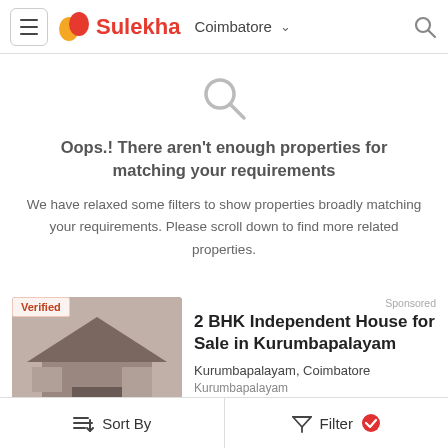Sulekha — Coimbatore
[Figure (screenshot): Gray search magnifier icon centered above no-results message]
Oops.! There aren't enough properties for matching your requirements
We have relaxed some filters to show properties broadly matching your requirements. Please scroll down to find more related properties.
Sponsored
[Figure (photo): Photo of a house interior/exterior with Verified badge and image count 11]
2 BHK Independent House for Sale in Kurumbapalayam
Kurumbapalayam, Coimbatore
Kurumbapalayam
by Individual Villas & Plots
Sort By   Filter